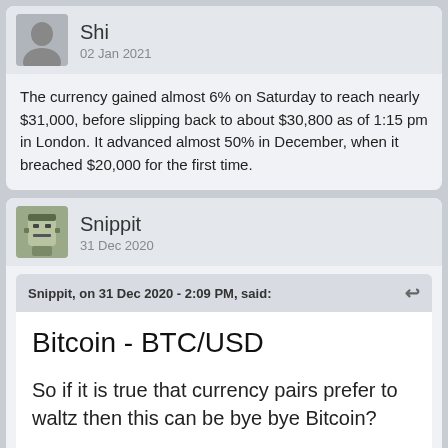Shi
02 Jan 2021
The currency gained almost 6% on Saturday to reach nearly $31,000, before slipping back to about $30,800 as of 1:15 pm in London. It advanced almost 50% in December, when it breached $20,000 for the first time.
Snippit
31 Dec 2020
Snippit, on 31 Dec 2020 - 2:09 PM, said:
Bitcoin - BTC/USD
So if it is true that currency pairs prefer to waltz then this can be bye bye Bitcoin?
https://el834862649.wordpress.com/bitcoin-btc-usd/
[Figure (screenshot): Partial screenshot of a BTC/USD chart, showing BTCUSD daily chart label in small text with a red label.]